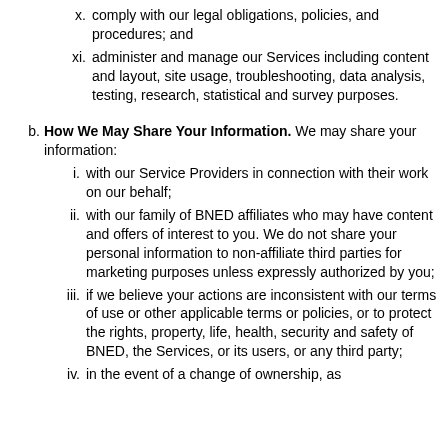x. comply with our legal obligations, policies, and procedures; and
xi. administer and manage our Services including content and layout, site usage, troubleshooting, data analysis, testing, research, statistical and survey purposes.
b. How We May Share Your Information. We may share your information:
i. with our Service Providers in connection with their work on our behalf;
ii. with our family of BNED affiliates who may have content and offers of interest to you. We do not share your personal information to non-affiliate third parties for marketing purposes unless expressly authorized by you;
iii. if we believe your actions are inconsistent with our terms of use or other applicable terms or policies, or to protect the rights, property, life, health, security and safety of BNED, the Services, or its users, or any third party;
iv. in the event of a change of ownership, as